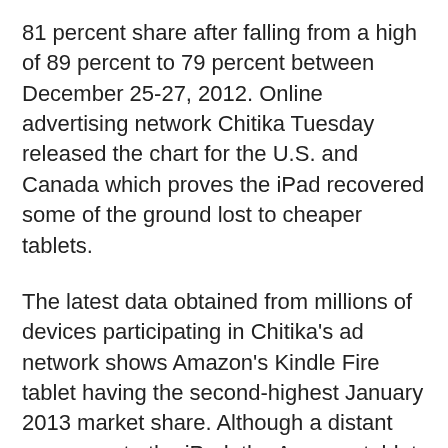81 percent share after falling from a high of 89 percent to 79 percent between December 25-27, 2012. Online advertising network Chitika Tuesday released the chart for the U.S. and Canada which proves the iPad recovered some of the ground lost to cheaper tablets.
The latest data obtained from millions of devices participating in Chitika's ad network shows Amazon's Kindle Fire tablet having the second-highest January 2013 market share. Although a distant runner-up to the iPad, the Amazon tablet scored a 7.7 percent tablet share, while Samsung's family of Galaxy tablets reached 3.9 percent.